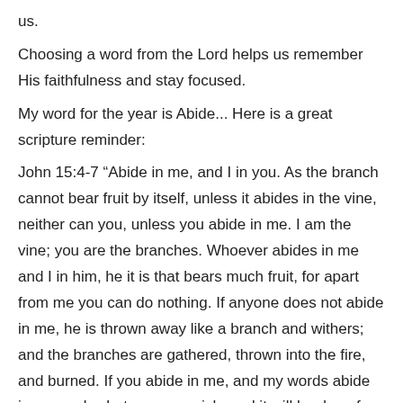us.
Choosing a word from the Lord helps us remember His faithfulness and stay focused.
My word for the year is Abide... Here is a great scripture reminder:
John 15:4-7 “Abide in me, and I in you. As the branch cannot bear fruit by itself, unless it abides in the vine, neither can you, unless you abide in me. I am the vine; you are the branches. Whoever abides in me and I in him, he it is that bears much fruit, for apart from me you can do nothing. If anyone does not abide in me, he is thrown away like a branch and withers; and the branches are gathered, thrown into the fire, and burned. If you abide in me, and my words abide in you, ask whatever you wish, and it will be done for you.”
As I close this post for 2021 I must share this reminder from